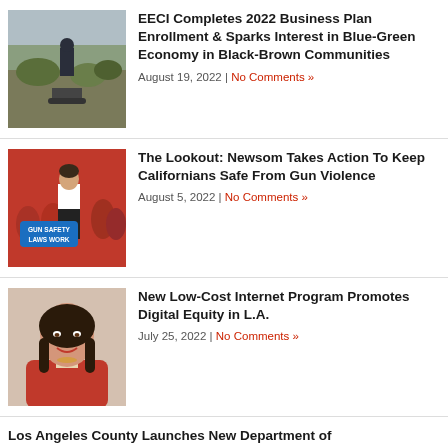EECI Completes 2022 Business Plan Enrollment & Sparks Interest in Blue-Green Economy in Black-Brown Communities
August 19, 2022 | No Comments »
The Lookout: Newsom Takes Action To Keep Californians Safe From Gun Violence
August 5, 2022 | No Comments »
New Low-Cost Internet Program Promotes Digital Equity in L.A.
July 25, 2022 | No Comments »
Los Angeles County Launches New Department of